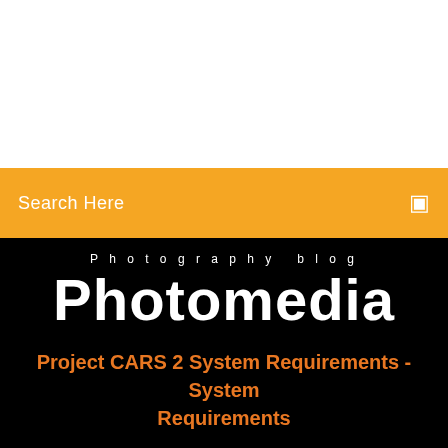[Figure (screenshot): White empty section at the top of the page]
Search Here
Photography blog
Photomedia
Project CARS 2 System Requirements - System Requirements
[Figure (illustration): Social media icons: Facebook, Twitter, Instagram as colored circles]